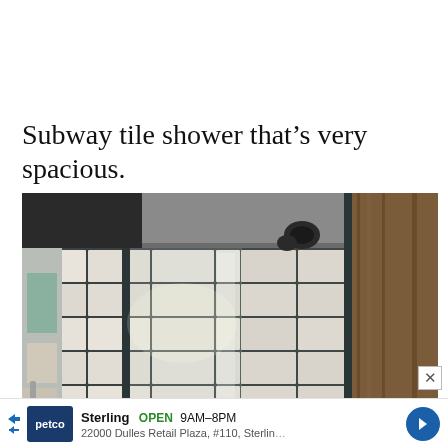Subway tile shower that’s very spacious.
[Figure (photo): Interior photo of a spacious subway tile shower with white rectangular tiles and dark grout, glass door panels with dark frames, and a ceiling with lighting fixtures visible.]
Sterling  OPEN  9AM–8PM
22000 Dulles Retail Plaza, #110, Sterling